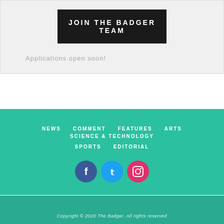JOIN THE BADGER TEAM
Applications open soon!
NEWS   COMMENT   FEATURES   ARTS   SCIENCE & TECHNOLOGY   SPORTS   EDITORIAL
[Figure (other): Social media icons: Facebook, Twitter, Instagram]
Copyright © 2020 The Badger. All rights reserved